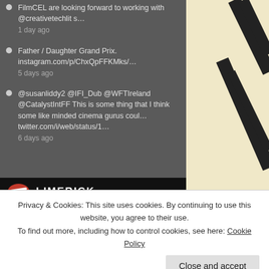FilmCEL are looking forward to working with @creativetechlit s… 1 day ago
Father / Daughter Grand Prix. instagram.com/p/ChxQpFFKMks/… 5 days ago
@susanliddy2 @IFI_Dub @WFTIreland @CatalystIntFF This is some thing that I think some like minded cinema gurus coul… twitter.com/i/web/status/1… 6 days ago
LIMERICK
[Figure (logo): Atlantic Edge Limerick logo with blue and green gradient text]
Hot on the heals of th
Privacy & Cookies: This site uses cookies. By continuing to use this website, you agree to their use.
To find out more, including how to control cookies, see here: Cookie Policy
Close and accept